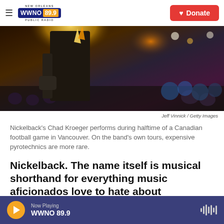NEW ORLEANS WWNO 89.9 PUBLIC RADIO | Donate
[Figure (photo): Concert photo showing a guitarist performing on stage with pyrotechnics and a large crowd in the background]
Jeff Vinnick / Getty Images
Nickelback's Chad Kroeger performs during halftime of a Canadian football game in Vancouver. On the band's own tours, expensive pyrotechnics are more rare.
Nickelback. The name itself is musical shorthand for everything music aficionados love to hate about
Now Playing WWNO 89.9